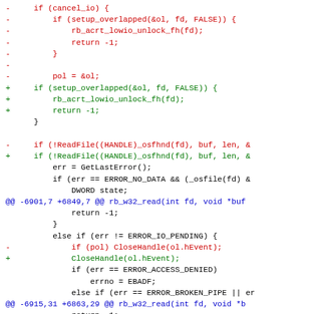[Figure (screenshot): A unified diff/patch view of source code changes to rb_w32_read function, showing removed lines in red (prefixed with -), added lines in green (prefixed with +), context lines in black, and hunk headers in blue.]